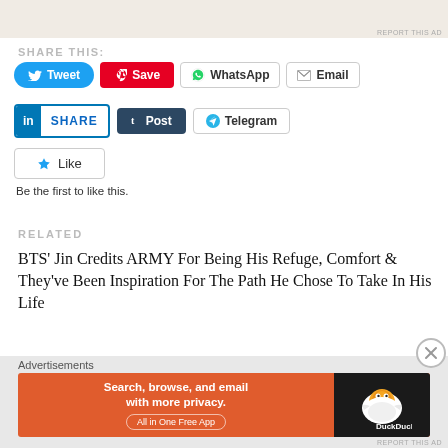[Figure (screenshot): Top portion of a webpage showing a WordPress logo/image ad cropped at top, with REPORT THIS AD link at bottom right]
SHARE THIS:
Tweet Save WhatsApp Email LinkedIn SHARE Post Telegram
Like
Be the first to like this.
RELATED
BTS' Jin Credits ARMY For Being His Refuge, Comfort & They've Been Inspiration For The Path He Chose To Take In His Life
May 17, 2022
[Figure (screenshot): DuckDuckGo advertisement banner: Search, browse, and email with more privacy. All in One Free App. DuckDuckGo logo on right.]